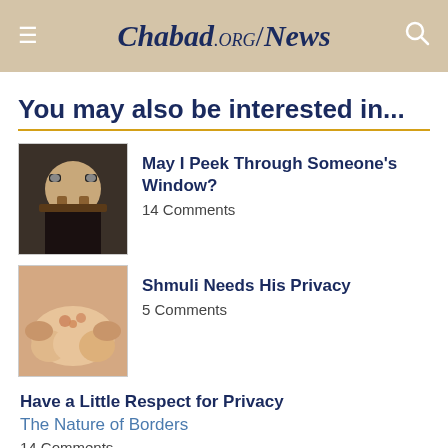Chabad.org/News
You may also be interested in...
May I Peek Through Someone's Window? 14 Comments
Shmuli Needs His Privacy 5 Comments
Have a Little Respect for Privacy / The Nature of Borders 14 Comments
Privacy and Modesty 11 Comments